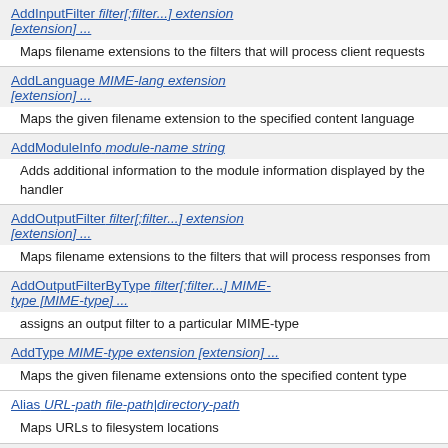AddInputFilter filter[;filter...] extension [extension] ...
Maps filename extensions to the filters that will process client requests
AddLanguage MIME-lang extension [extension] ...
Maps the given filename extension to the specified content language
AddModuleInfo module-name string
Adds additional information to the module information displayed by the handler
AddOutputFilter filter[;filter...] extension [extension] ...
Maps filename extensions to the filters that will process responses from
AddOutputFilterByType filter[;filter...] MIME-type [MIME-type] ...
assigns an output filter to a particular MIME-type
AddType MIME-type extension [extension] ...
Maps the given filename extensions onto the specified content type
Alias URL-path file-path|directory-path
Maps URLs to filesystem locations
AliasMatch regex file-path|directory-path
Maps URLs to filesystem locations using regular expressions
Allow from all|host|env=[!]env-variable [host|env=[!]env-variable] ...